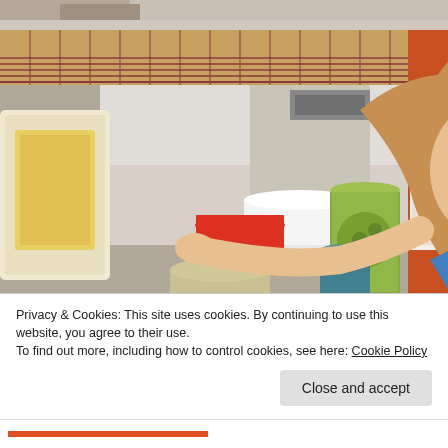[Figure (photo): Top strip showing partial image, cropped view of food or scene]
[Figure (photo): Young woman reaching into a refrigerator stocked with jars, cans, and packaged food items, viewed from inside the refrigerator]
The Best and Worst Foods for Constipation
Privacy & Cookies: This site uses cookies. By continuing to use this website, you agree to their use.
To find out more, including how to control cookies, see here: Cookie Policy
Close and accept